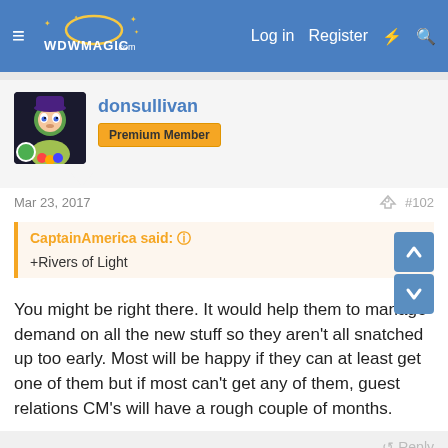WDWMAGIC — Log in  Register
donsullivan
Premium Member
Mar 23, 2017  #102
CaptainAmerica said: ↑
+Rivers of Light
You might be right there. It would help them to manage demand on all the new stuff so they aren't all snatched up too early. Most will be happy if they can at least get one of them but if most can't get any of them, guest relations CM's will have a rough couple of months.
Reply